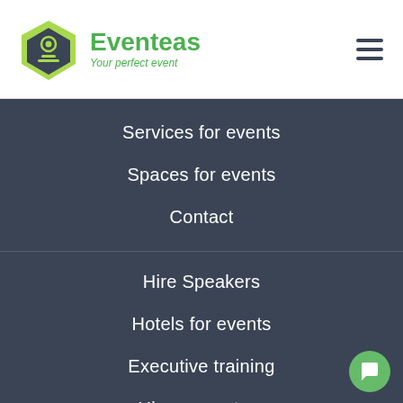Eventeas — Your perfect event
Services for events
Spaces for events
Contact
Hire Speakers
Hotels for events
Executive training
Hire presenters
Music for events